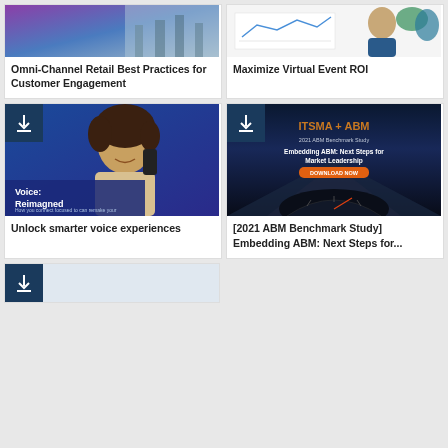[Figure (photo): Card image for Omni-Channel Retail Best Practices - abstract gradient purple/blue/gray]
Omni-Channel Retail Best Practices for Customer Engagement
[Figure (photo): Card image for Maximize Virtual Event ROI - person with chart/graph and abstract shapes]
Maximize Virtual Event ROI
[Figure (photo): Card with download badge - woman smiling on phone, Voice Reimagined brochure cover]
Unlock smarter voice experiences
[Figure (photo): Card with download badge - ITSMA + ABM 2021 ABM Benchmark Study Embedding ABM: Next Steps for Market Leadership, car dashboard speedometer]
[2021 ABM Benchmark Study] Embedding ABM: Next Steps for...
[Figure (photo): Partial card at bottom with download badge visible]